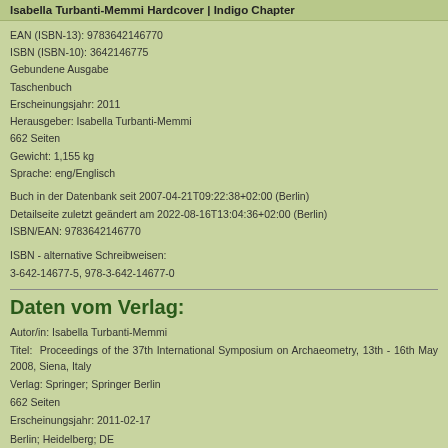Isabella Turbanti-Memmi Hardcover | Indigo Chapter
EAN (ISBN-13): 9783642146770
ISBN (ISBN-10): 3642146775
Gebundene Ausgabe
Taschenbuch
Erscheinungsjahr: 2011
Herausgeber: Isabella Turbanti-Memmi
662 Seiten
Gewicht: 1,155 kg
Sprache: eng/Englisch
Buch in der Datenbank seit 2007-04-21T09:22:38+02:00 (Berlin)
Detailseite zuletzt geändert am 2022-08-16T13:04:36+02:00 (Berlin)
ISBN/EAN: 9783642146770
ISBN - alternative Schreibweisen:
3-642-14677-5, 978-3-642-14677-0
Daten vom Verlag:
Autor/in: Isabella Turbanti-Memmi
Titel: Proceedings of the 37th International Symposium on Archaeometry, 13th - 16th May 2008, Siena, Italy
Verlag: Springer; Springer Berlin
662 Seiten
Erscheinungsjahr: 2011-02-17
Berlin; Heidelberg; DE
Gedruckt / Hergestellt in Niederlande.
Gewicht: 1,215 kg